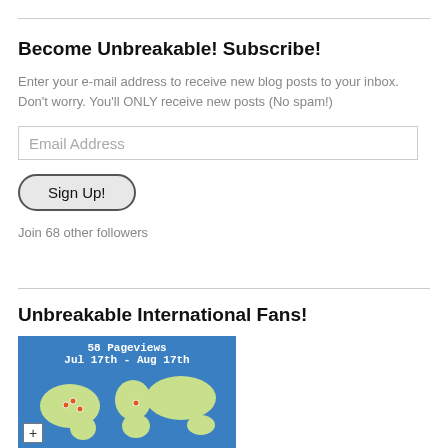Become Unbreakable! Subscribe!
Enter your e-mail address to receive new blog posts to your inbox. Don't worry. You'll ONLY receive new posts (No spam!)
Email Address
Sign Up!
Join 68 other followers
Unbreakable International Fans!
[Figure (map): World map showing 58 Pageviews from Jul 17th - Aug 17th with location dots plotted on a blue world map]